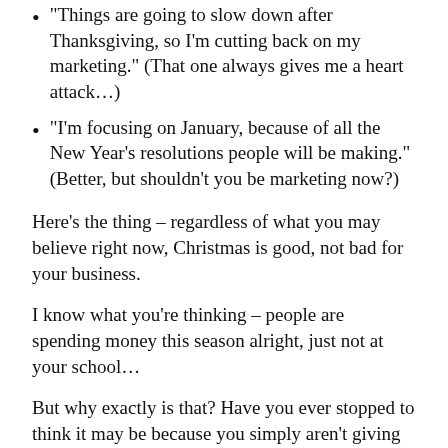“Things are going to slow down after Thanksgiving, so I’m cutting back on my marketing.” (That one always gives me a heart attack…)
“I’m focusing on January, because of all the New Year’s resolutions people will be making.” (Better, but shouldn’t you be marketing now?)
Here’s the thing – regardless of what you may believe right now, Christmas is good, not bad for your business.
I know what you’re thinking – people are spending money this season alright, just not at your school…
But why exactly is that? Have you ever stopped to think it may be because you simply aren’t giving them a good enough reason to do so?
HOW TO GET CHRISTMAS SPENDING